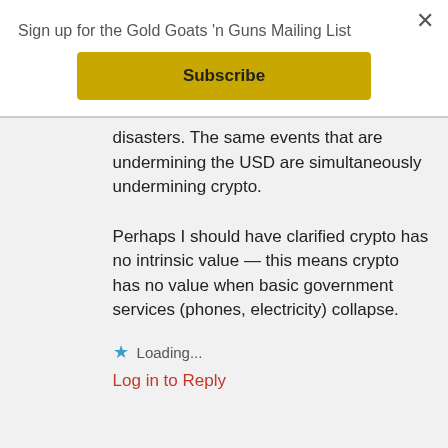Sign up for the Gold Goats 'n Guns Mailing List
[Figure (other): Yellow Subscribe button]
disasters. The same events that are undermining the USD are simultaneously undermining crypto.

Perhaps I should have clarified crypto has no intrinsic value — this means crypto has no value when basic government services (phones, electricity) collapse.
Loading...
Log in to Reply